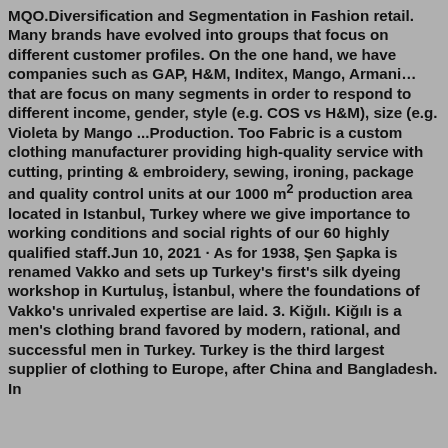MQO.Diversification and Segmentation in Fashion retail. Many brands have evolved into groups that focus on different customer profiles. On the one hand, we have companies such as GAP, H&M, Inditex, Mango, Armani…that are focus on many segments in order to respond to different income, gender, style (e.g. COS vs H&M), size (e.g. Violeta by Mango ...Production. Too Fabric is a custom clothing manufacturer providing high-quality service with cutting, printing & embroidery, sewing, ironing, package and quality control units at our 1000 m² production area located in Istanbul, Turkey where we give importance to working conditions and social rights of our 60 highly qualified staff.Jun 10, 2021 · As for 1938, Şen Şapka is renamed Vakko and sets up Turkey's first's silk dyeing workshop in Kurtuluş, İstanbul, where the foundations of Vakko's unrivaled expertise are laid. 3. Kiğılı. Kiğılı is a men's clothing brand favored by modern, rational, and successful men in Turkey. Turkey is the third largest supplier of clothing to Europe, after China and Bangladesh. In